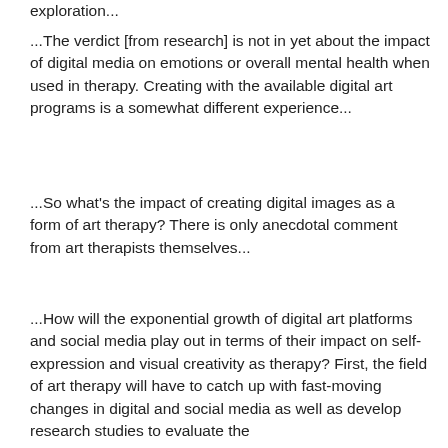exploration...
...The verdict [from research] is not in yet about the impact of digital media on emotions or overall mental health when used in therapy. Creating with the available digital art programs is a somewhat different experience...
...So what's the impact of creating digital images as a form of art therapy? There is only anecdotal comment from art therapists themselves...
...How will the exponential growth of digital art platforms and social media play out in terms of their impact on self-expression and visual creativity as therapy? First, the field of art therapy will have to catch up with fast-moving changes in digital and social media as well as develop research studies to evaluate the